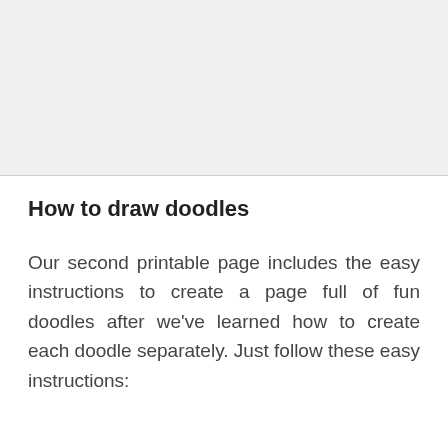[Figure (other): Light gray rectangular placeholder image area at the top of the page]
How to draw doodles
Our second printable page includes the easy instructions to create a page full of fun doodles after we've learned how to create each doodle separately. Just follow these easy instructions: